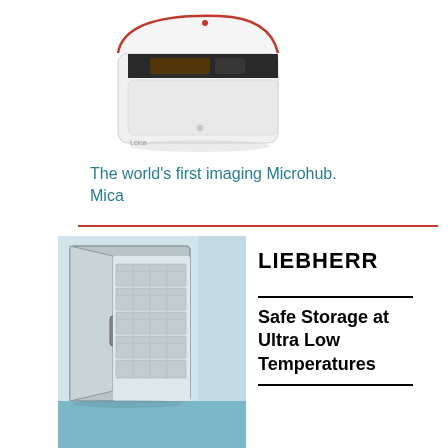[Figure (photo): Leica Mica imaging microhub instrument — white boxy laboratory device with open lid revealing internal components, shown at an angle on white background]
The world's first imaging Microhub. Mica
[Figure (photo): Liebherr ultra-low temperature freezer with door open showing internal storage racks, in a laboratory environment with blue flooring and glass partitions]
LIEBHERR
Safe Storage at Ultra Low Temperatures